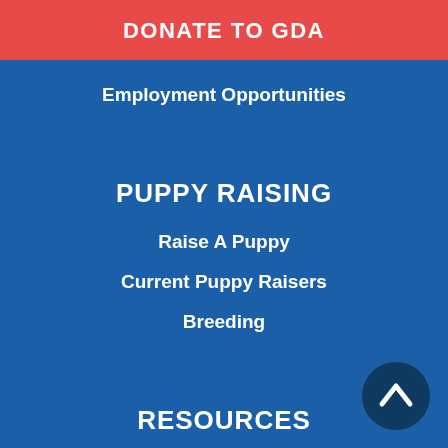DONATE TO GDA
Employment Opportunities
PUPPY RAISING
Raise A Puppy
Current Puppy Raisers
Breeding
RESOURCES
Graduate Services
Prison Training Program